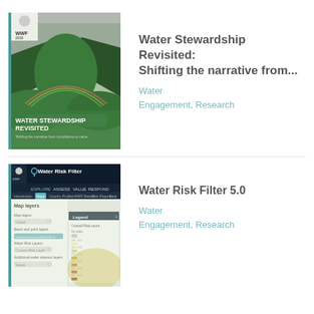[Figure (photo): Cover of 'Water Stewardship Revisited' WWF report 2018, showing a green mountain valley with a rainbow and a river, with white text overlay on the lower portion.]
Water Stewardship Revisited: Shifting the narrative from...
Water
Engagement, Research
[Figure (screenshot): Screenshot of the Water Risk Filter 5.0 web application interface, showing a dark navy header with the Water Risk Filter logo, navigation tabs (Explore, Assess, Value, Respond), and a sidebar with map layer controls and a legend panel.]
Water Risk Filter 5.0
Water
Engagement, Research